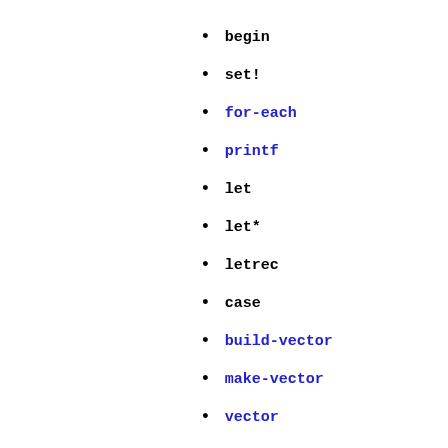begin
set!
for-each
printf
let
let*
letrec
case
build-vector
make-vector
vector
vector-length
vector-ref